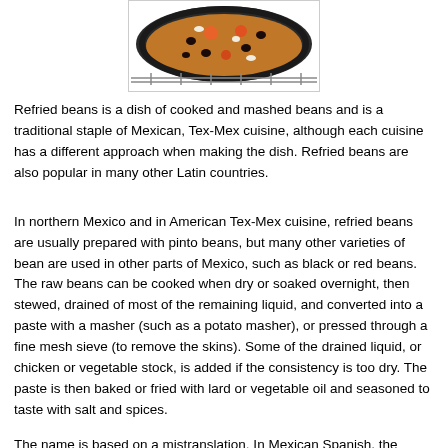[Figure (photo): A skillet or pan viewed from above containing refried beans topped with vegetables and toppings including what appears to be tomatoes, black beans, and onions on a wire rack.]
Refried beans is a dish of cooked and mashed beans and is a traditional staple of Mexican, Tex-Mex cuisine, although each cuisine has a different approach when making the dish. Refried beans are also popular in many other Latin countries.
In northern Mexico and in American Tex-Mex cuisine, refried beans are usually prepared with pinto beans, but many other varieties of bean are used in other parts of Mexico, such as black or red beans. The raw beans can be cooked when dry or soaked overnight, then stewed, drained of most of the remaining liquid, and converted into a paste with a masher (such as a potato masher), or pressed through a fine mesh sieve (to remove the skins). Some of the drained liquid, or chicken or vegetable stock, is added if the consistency is too dry. The paste is then baked or fried with lard or vegetable oil and seasoned to taste with salt and spices.
The name is based on a mistranslation. In Mexican Spanish, the prefix re is based on a mistranslation. In Mexican Spanish, the prefix re